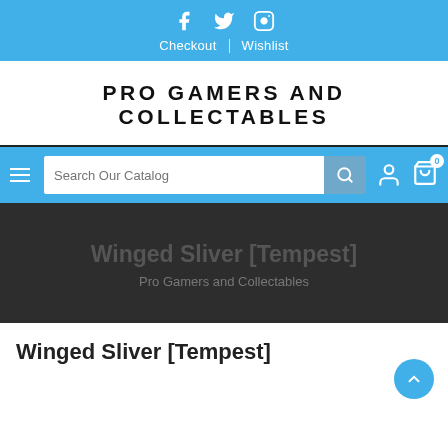Social icons: Facebook, Twitter, Instagram | Checkout | Wishlist
PRO GAMERS AND COLLECTABLES
[Figure (screenshot): Search bar with hamburger menu, search input 'Search Our Catalog', search button, user icon, and cart icon with badge '0']
Winged Sliver [Tempest]
Pro Gamers and Collectables
Winged Sliver [Tempest]